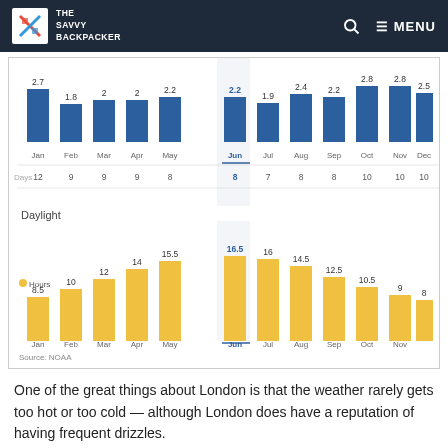The Savvy Backpacker | MENU
[Figure (bar-chart): Rain Days per Month]
[Figure (bar-chart): Daylight Hours per Month]
Source: NOAA
One of the great things about London is that the weather rarely gets too hot or too cold — although London does have a reputation of having frequent drizzles.